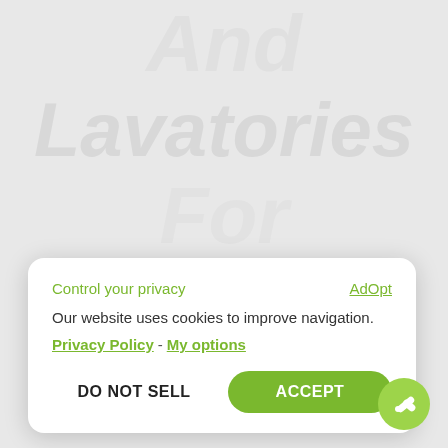[Figure (screenshot): Background watermark text showing large italic white words: And, Lavatories, For, Your, Place partially visible]
Control your privacy
AdOpt
Our website uses cookies to improve navigation.
Privacy Policy - My options
DO NOT SELL
ACCEPT